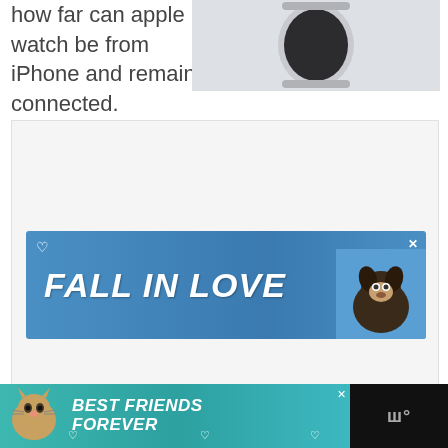how far can apple watch be from iPhone and remain connected.
[Figure (photo): Partial image of an Apple Watch on a light gray background]
[Figure (illustration): Advertisement banner with blue background reading FALL IN LOVE with a dog illustration and heart icon]
[Figure (illustration): Footer advertisement banner with teal background reading BEST FRIENDS FOREVER with a cat illustration and heart icons]